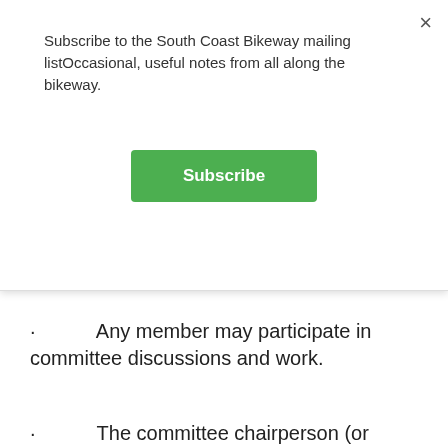Subscribe to the South Coast Bikeway mailing listOccasional, useful notes from all along the bikeway.
[Figure (other): Green Subscribe button]
· Any member may participate in committee discussions and work.
· The committee chairperson (or designee) regularly reports on the committee's activities to the Steering Committee or President.
8.     Meetings
· Steering Committee Meetings held each month at a location to be